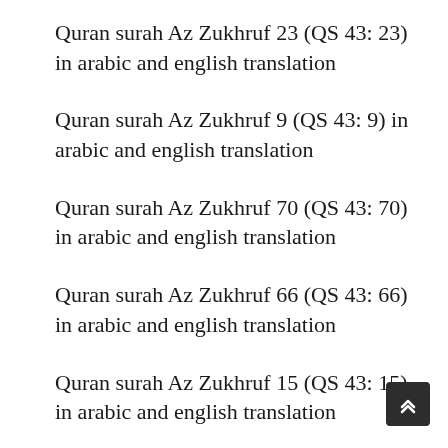Quran surah Az Zukhruf 23 (QS 43: 23) in arabic and english translation
Quran surah Az Zukhruf 9 (QS 43: 9) in arabic and english translation
Quran surah Az Zukhruf 70 (QS 43: 70) in arabic and english translation
Quran surah Az Zukhruf 66 (QS 43: 66) in arabic and english translation
Quran surah Az Zukhruf 15 (QS 43: 15) in arabic and english translation